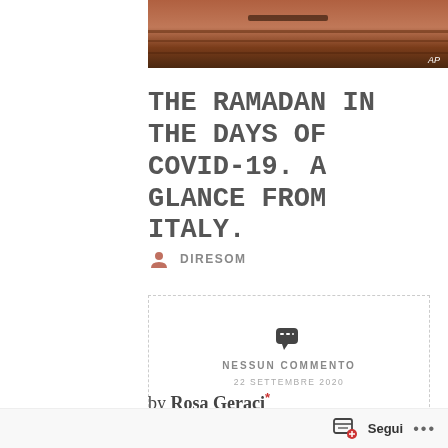[Figure (photo): Partial view of a boat or ship on water, reddish-brown tones, with AP watermark badge at bottom right]
THE RAMADAN IN THE DAYS OF COVID-19. A GLANCE FROM ITALY.
DIRESOM
NESSUN COMMENTO
22 SETTEMBRE 2020
by Rosa Geraci*